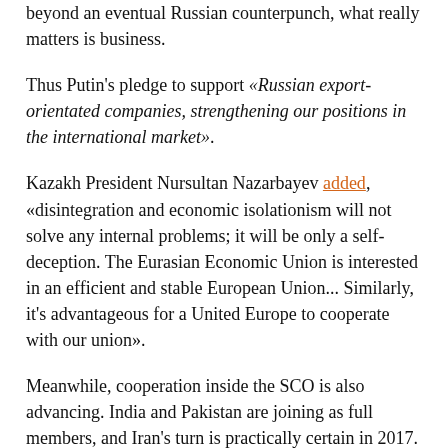beyond an eventual Russian counterpunch, what really matters is business.
Thus Putin's pledge to support «Russian export-orientated companies, strengthening our positions in the international market».
Kazakh President Nursultan Nazarbayev added, «disintegration and economic isolationism will not solve any internal problems; it will be only a self-deception. The Eurasian Economic Union is interested in an efficient and stable European Union... Similarly, it's advantageous for a United Europe to cooperate with our union».
Meanwhile, cooperation inside the SCO is also advancing. India and Pakistan are joining as full members, and Iran's turn is practically certain in 2017. Nazarbayev: «This organization that will unite three billion people is becoming very powerful. Isn't it profitable to anyone to cooperate with such an organization?»